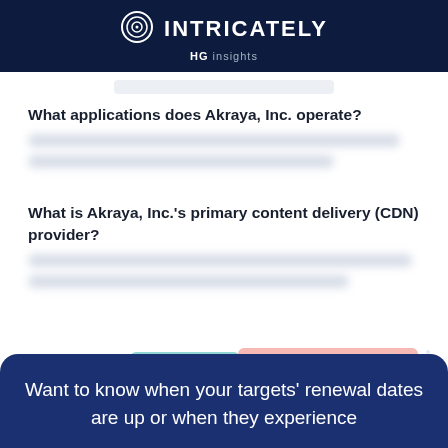INTRICATELY HG Insights
What applications does Akraya, Inc. operate?
[blurred answer text]
What is Akraya, Inc.'s primary content delivery (CDN) provider?
[blurred answer text]
[Figure (infographic): Partial view of a bar or area chart with teal and pink/salmon colored segments at the bottom of the page]
Want to know when your targets' renewal dates are up or when they experience